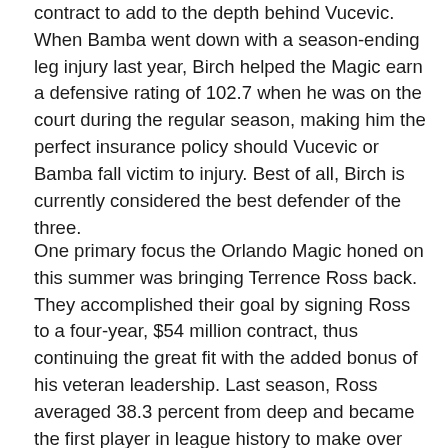contract to add to the depth behind Vucevic. When Bamba went down with a season-ending leg injury last year, Birch helped the Magic earn a defensive rating of 102.7 when he was on the court during the regular season, making him the perfect insurance policy should Vucevic or Bamba fall victim to injury. Best of all, Birch is currently considered the best defender of the three.
One primary focus the Orlando Magic honed on this summer was bringing Terrence Ross back. They accomplished their goal by signing Ross to a four-year, $54 million contract, thus continuing the great fit with the added bonus of his veteran leadership. Last season, Ross averaged 38.3 percent from deep and became the first player in league history to make over 200 three-pointers without ever starting a game.